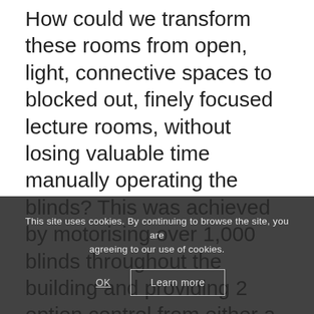How could we transform these rooms from open, light, connective spaces to blocked out, finely focused lecture rooms, without losing valuable time manually operating the blinds? This was achieved by motorising over 1,000 blinds throughout the building and providing 2 option control from either a wall switch as you enter or exit the room, or from a touch pad AV control located at the lecterns.
The connectivity of the blinds to the
This site uses cookies. By continuing to browse the site, you are agreeing to our use of cookies.